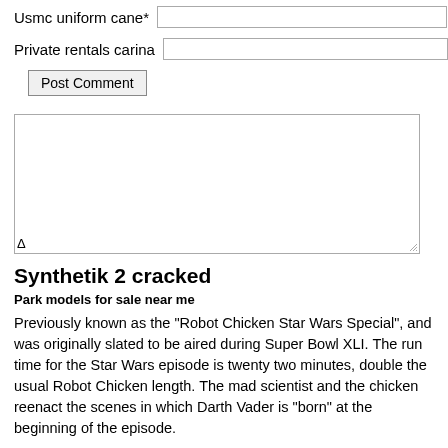Usmc uniform cane*
Private rentals carina
Post Comment
[Figure (other): Empty textarea input box with resize handle and delta symbol at bottom left]
Synthetik 2 cracked
Park models for sale near me
Previously known as the "Robot Chicken Star Wars Special", and was originally slated to be aired during Super Bowl XLI. The run time for the Star Wars episode is twenty two minutes, double the usual Robot Chicken length. The mad scientist and the chicken reenact the scenes in which Darth Vader is "born" at the beginning of the episode.